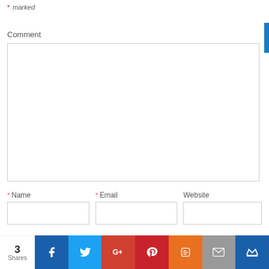* marked
Comment
* Name
* Email
Website
3 Shares